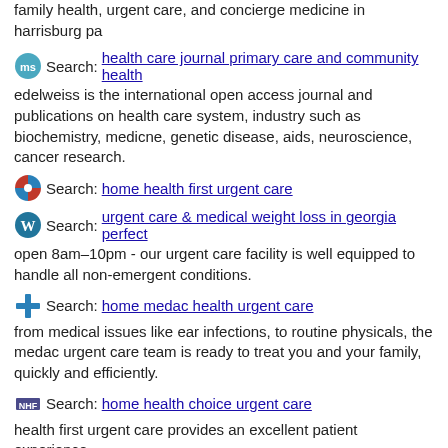family health, urgent care, and concierge medicine in harrisburg pa
Search: health care journal primary care and community health
edelweiss is the international open access journal and publications on health care system, industry such as biochemistry, medicne, genetic disease, aids, neuroscience, cancer research.
Search: home health first urgent care
Search: urgent care & medical weight loss in georgia perfect
open 8am–10pm - our urgent care facility is well equipped to handle all non-emergent conditions.
Search: home medac health urgent care
from medical issues like ear infections, to routine physicals, the medac urgent care team is ready to treat you and your family, quickly and efficiently.
Search: home health choice urgent care
health first urgent care provides an excellent patient experience.